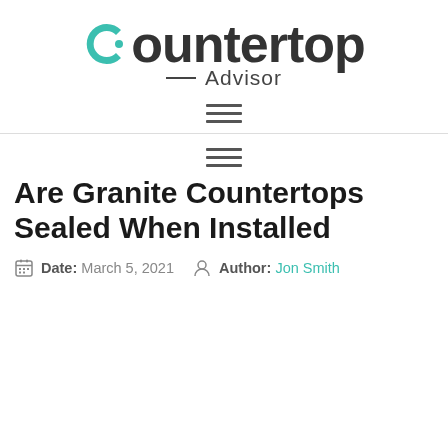Countertop Advisor
Are Granite Countertops Sealed When Installed
Date: March 5, 2021   Author: Jon Smith